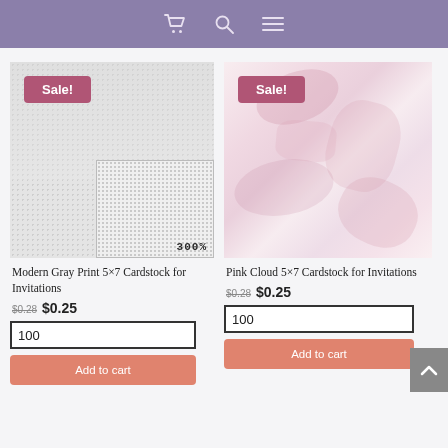Navigation bar with cart, search, and menu icons
[Figure (photo): Modern Gray Print 5x7 Cardstock product image with Sale! badge and 300% zoom inset]
Modern Gray Print 5×7 Cardstock for Invitations
$0.28 $0.25
100
Add to cart
[Figure (photo): Pink Cloud 5x7 Cardstock product image with Sale! badge]
Pink Cloud 5×7 Cardstock for Invitations
$0.28 $0.25
100
Add to cart